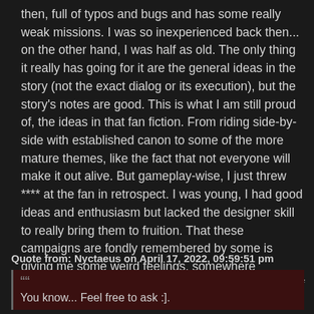then, full of typos and bugs and has some really weak missions. I was so inexperienced back then... on the other hand, I was half as old. The only thing it really has going for it are the general ideas in the story (not the exact dialog or its execution), but the story's notes are good. This is what I am still proud of, the ideas in that fan fiction. From riding side-by-side with established canon to some of the more mature themes, like the fact that not everyone will make it out alive. But gameplay-wise, I just threw **** at the fan in retrospect. I was young, I had good ideas and enthusiasm but lacked the designer skill to really bring them to fruition. That these campaigns are fondly remembered by some is giving me some weird feelings, somewhere between pride in my work and rose-tinted glasses of youth.
Better not go back and play them ;-)
Quote from: Nyctaeus on April 17, 2022, 09:59:51 pm
You know... Feel free to ask :].